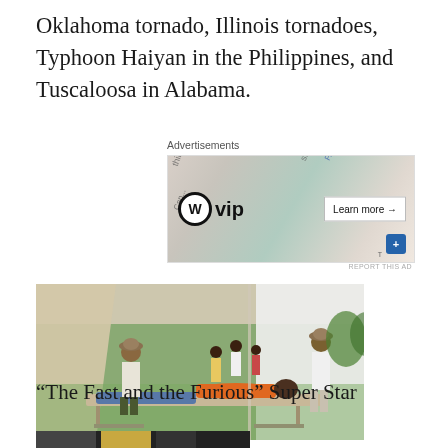Oklahoma tornado, Illinois tornadoes, Typhoon Haiyan in the Philippines, and Tuscaloosa in Alabama.
[Figure (other): Advertisement banner featuring WordPress VIP logo with 'Learn more →' button, on a collage background with social media brand names]
[Figure (photo): Outdoor medical tent scene with a patient lying on a stretcher/cot in orange clothing, two men standing nearby, and people in the background under a white canopy tent]
“The Fast and the Furious” Super Star
[Figure (photo): Partial view of another photo at the bottom of the page, appears dark/partially cropped]